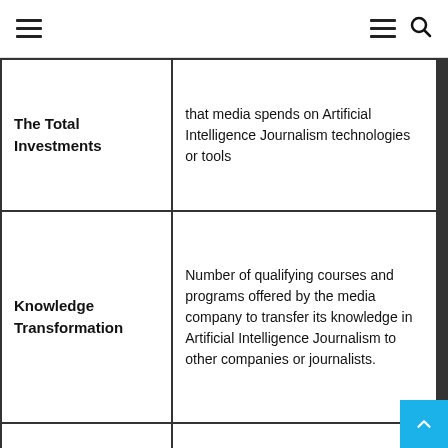≡  ≡ 🔍
| Category | Description |
| --- | --- |
| The Total Investments | that media spends on Artificial Intelligence Journalism technologies or tools |
| Knowledge Transformation | Number of qualifying courses and programs offered by the media company to transfer its knowledge in Artificial Intelligence Journalism to other companies or journalists. |
|  | How did the media companies develop and |